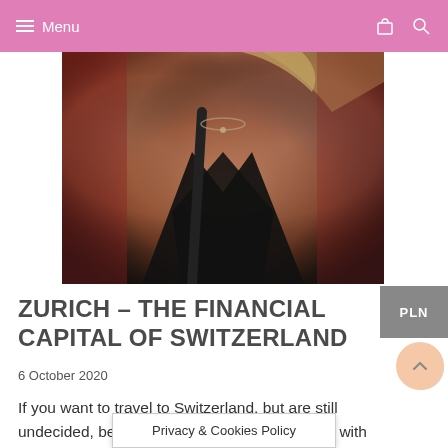Menu
[Figure (photo): A person wearing a black crossover dress/top with a leather strap, photographed from neck/shoulder area, cropped.]
ZURICH – THE FINANCIAL CAPITAL OF SWITZERLAND
6 October 2020
If you want to travel to Switzerland, but are still undecided, be sure to read my post. Red flags with a white cross fly overhead
Privacy & Cookies Policy